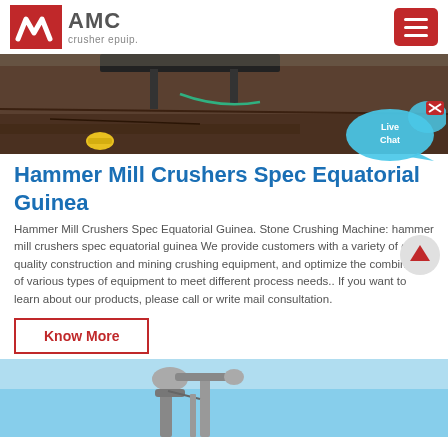AMC crusher epuip.
[Figure (photo): Construction or mining site with dirt ground, machinery overhead, and a yellow hard hat on the ground]
Hammer Mill Crushers Spec Equatorial Guinea
Hammer Mill Crushers Spec Equatorial Guinea. Stone Crushing Machine: hammer mill crushers spec equatorial guinea We provide customers with a variety of good quality construction and mining crushing equipment, and optimize the combination of various types of equipment to meet different process needs.. If you want to learn about our products, please call or write mail consultation.
Know More
[Figure (photo): Industrial machinery or equipment against a blue sky background]